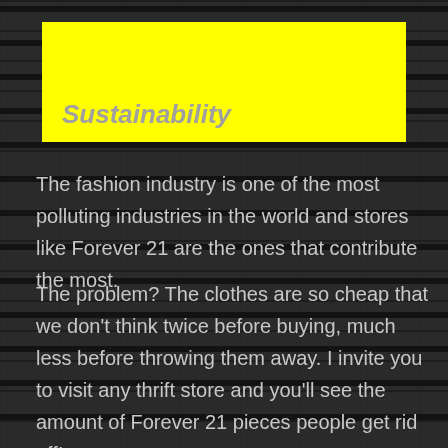Sustainability
The fashion industry is one of the most polluting industries in the world and stores like Forever 21 are the ones that contribute the most.
The problem? The clothes are so cheap that we don't think twice before buying, much less before throwing them away. I invite you to visit any thrift store and you'll see the amount of Forever 21 pieces people get rid off!